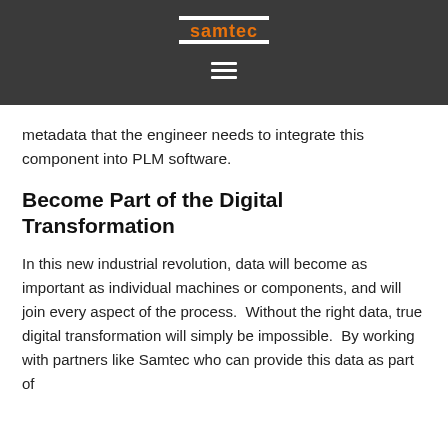samtec
metadata that the engineer needs to integrate this component into PLM software.
Become Part of the Digital Transformation
In this new industrial revolution, data will become as important as individual machines or components, and will join every aspect of the process.  Without the right data, true digital transformation will simply be impossible.  By working with partners like Samtec who can provide this data as part of